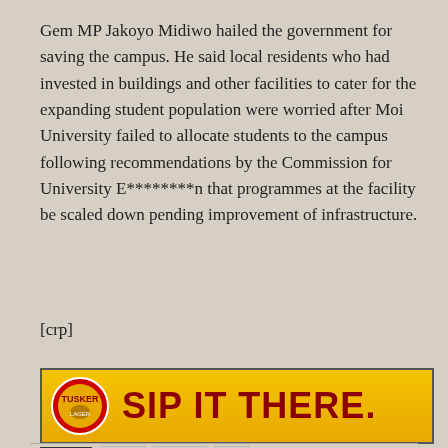Gem MP Jakoyo Midiwo hailed the government for saving the campus. He said local residents who had invested in buildings and other facilities to cater for the expanding student population were worried after Moi University failed to allocate students to the campus following recommendations by the Commission for University E********n that programmes at the facility be scaled down pending improvement of infrastructure.
[crp]
[Figure (other): Tusker beer advertisement banner with golden background reading 'SIP IT THERE.' in dark red bold text with Tusker logo on left]
TAGS  KBC  Media  TV